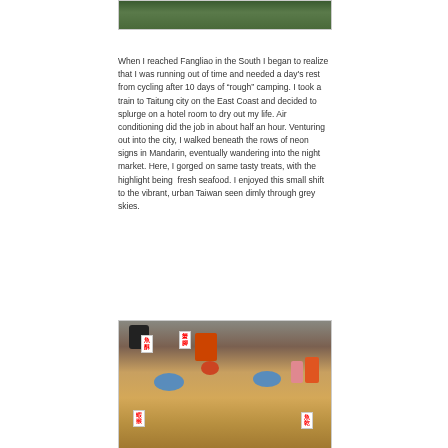[Figure (photo): Partial view of a green forested hillside or landscape, cropped at top of page]
When I reached Fangliao in the South I began to realize that I was running out of time and needed a day's rest from cycling after 10 days of “rough” camping. I took a train to Taitung city on the East Coast and decided to splurge on a hotel room to dry out my life. Air conditioning did the job in about half an hour. Venturing out into the city, I walked beneath the rows of neon signs in Mandarin, eventually wandering into the night market. Here, I gorged on same tasty treats, with the highlight being  fresh seafood. I enjoyed this small shift to the vibrant, urban Taiwan seen dimly through grey skies.
[Figure (photo): A Taiwanese night market food stall showing various fried seafood and snacks spread on a table, with blue plastic baskets/scoops, orange bowls, red Chinese character signs labeling the foods, and a red kitchen scale in the background]